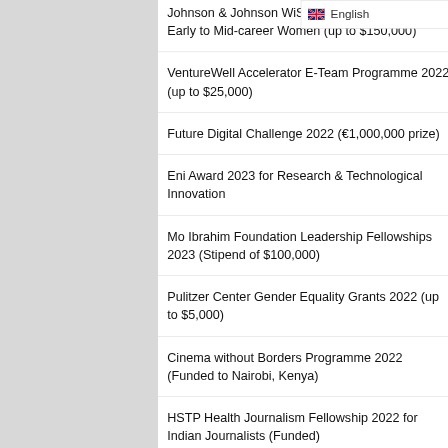Johnson & Johnson WiSTEM2D Awards 2023 for Early to Mid-career Women (up to $150,000)
VentureWell Accelerator E-Team Programme 2022 (up to $25,000)
Future Digital Challenge 2022 (€1,000,000 prize)
Eni Award 2023 for Research & Technological Innovation
Mo Ibrahim Foundation Leadership Fellowships 2023 (Stipend of $100,000)
Pulitzer Center Gender Equality Grants 2022 (up to $5,000)
Cinema without Borders Programme 2022 (Funded to Nairobi, Kenya)
HSTP Health Journalism Fellowship 2022 for Indian Journalists (Funded)
How to Become a YouTuber and Get Paid